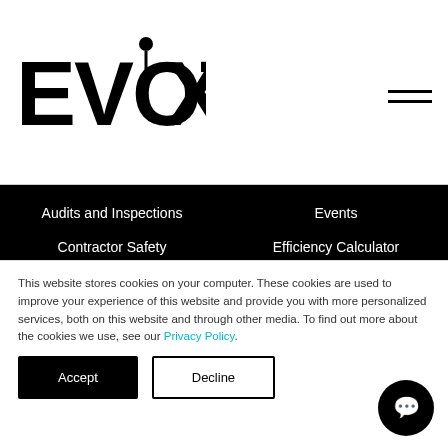[Figure (logo): EVOTIX logo in bold black text with a stylized person icon above the X]
Audits and Inspections
Contractor Safety Management
Engaging Your People
Insights From Data
Supporting Regulatory Compliance
Events
Efficiency Calculator
API Developer Resources
About
About
This website stores cookies on your computer. These cookies are used to improve your experience of this website and provide you with more personalized services, both on this website and through other media. To find out more about the cookies we use, see our Privacy Policy.